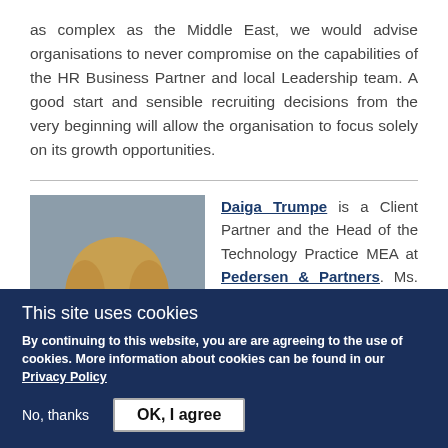as complex as the Middle East, we would advise organisations to never compromise on the capabilities of the HR Business Partner and local Leadership team. A good start and sensible recruiting decisions from the very beginning will allow the organisation to focus solely on its growth opportunities.
[Figure (photo): Professional headshot of Daiga Trumpe, a woman with blonde hair, smiling against a grey background.]
Daiga Trumpe is a Client Partner and the Head of the Technology Practice MEA at Pedersen & Partners. Ms. Trumpe joined Pedersen &
This site uses cookies
By continuing to this website, you are are agreeing to the use of cookies. More information about cookies can be found in our Privacy Policy
No, thanks   OK, I agree